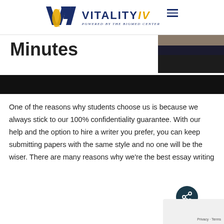[Figure (logo): Vitality IV powered by The BioMed Center logo with stylized W mark in blue and gold]
[Figure (photo): Partial image showing the word 'Minutes' in bold black text on left, person in dark suit on right, and black bar at bottom]
One of the reasons why students choose us is because we always stick to our 100% confidentiality guarantee. With our help and the option to hire a writer you prefer, you can keep submitting papers with the same style and no one will be the wiser. There are many reasons why we're the best essay writing